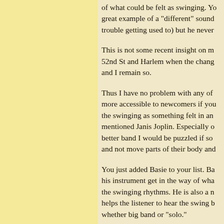of what could be felt as swinging. Yo great example of a "different" sound trouble getting used to) but he never
This is not some recent insight on m 52nd St and Harlem when the chang and I remain so.
Thus I have no problem with any of more accessible to newcomers if you the swinging as something felt in an mentioned Janis Joplin. Especially o better band I would be puzzled if so and not move parts of their body and
You just added Basie to your list. Ba his instrument get in the way of wha the swinging rhythms. He is also a n helps the listener to hear the swing b whether big band or "solo."